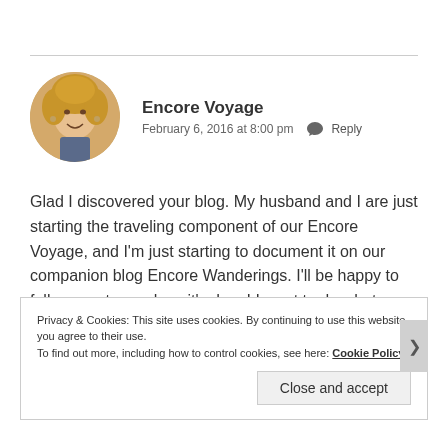[Figure (photo): Circular avatar photo of a woman with curly blonde hair, smiling]
Encore Voyage
February 6, 2016 at 8:00 pm  Reply
Glad I discovered your blog. My husband and I are just starting the traveling component of our Encore Voyage, and I'm just starting to document it on our companion blog Encore Wanderings. I'll be happy to follow you to see how it's done! I want to do what you do!!!
Privacy & Cookies: This site uses cookies. By continuing to use this website, you agree to their use.
To find out more, including how to control cookies, see here: Cookie Policy
Close and accept